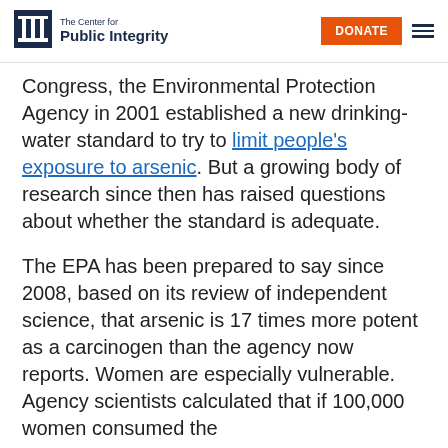The Center for Public Integrity | DONATE
Congress, the Environmental Protection Agency in 2001 established a new drinking-water standard to try to limit people's exposure to arsenic. But a growing body of research since then has raised questions about whether the standard is adequate.
The EPA has been prepared to say since 2008, based on its review of independent science, that arsenic is 17 times more potent as a carcinogen than the agency now reports. Women are especially vulnerable. Agency scientists calculated that if 100,000 women consumed the